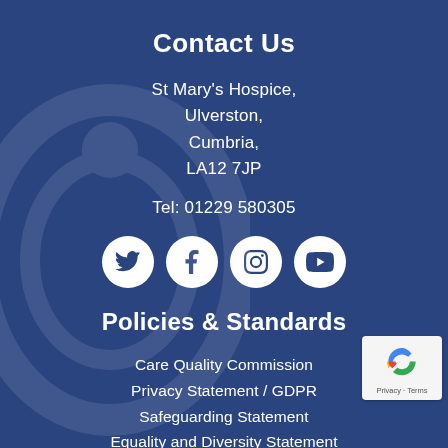Contact Us
St Mary's Hospice,
Ulverston,
Cumbria,
LA12 7JP
Tel: 01229 580305
[Figure (infographic): Four social media icons in white circles: Twitter, Facebook, Instagram, YouTube]
Policies & Standards
Care Quality Commission
Privacy Statement / GDPR
Safeguarding Statement
Equality and Diversity Statement
Website Terms & Conditions